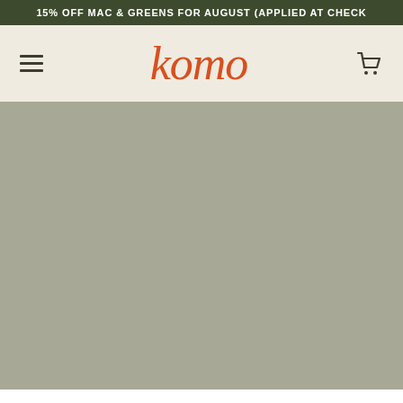15% OFF MAC & GREENS FOR AUGUST (APPLIED AT CHECK
[Figure (logo): Komo brand logo in orange italic script font, with hamburger menu icon on left and shopping cart icon on right, on cream/beige background]
[Figure (photo): Large gray-green hero image area, solid muted sage/olive color fill, no visible content]